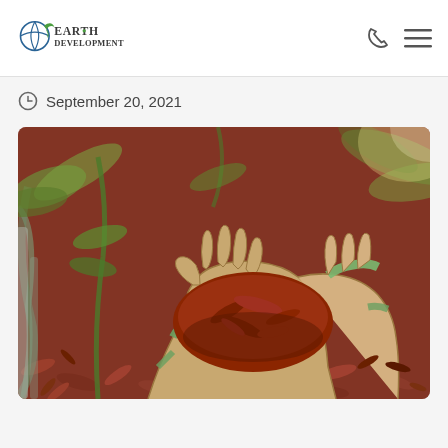Earth Development
September 20, 2021
[Figure (photo): Close-up of two gloved hands (green and beige work gloves) holding red mulch/wood chips, with green plants and more red mulch visible in the background.]